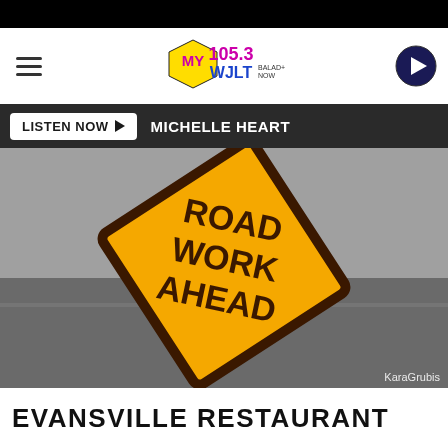[Figure (screenshot): MY 105.3 WJLT radio station website header with logo, hamburger menu, play button, and LISTEN NOW bar showing MICHELLE HEART]
[Figure (photo): Yellow diamond-shaped Road Work Ahead sign on road surface, photographed by KaraGrubis]
KaraGrubis
EVANSVILLE RESTAURANT